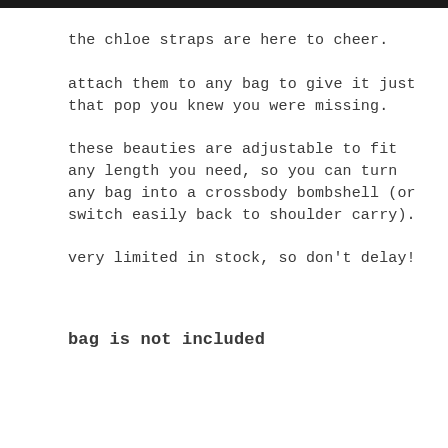the chloe straps are here to cheer.
attach them to any bag to give it just that pop you knew you were missing.
these beauties are adjustable to fit any length you need, so you can turn any bag into a crossbody bombshell (or switch easily back to shoulder carry).
very limited in stock, so don't delay!
bag is not included